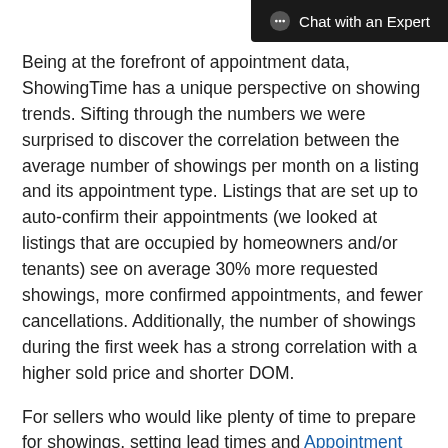Chat with an Expert
Being at the forefront of appointment data, ShowingTime has a unique perspective on showing trends. Sifting through the numbers we were surprised to discover the correlation between the average number of showings per month on a listing and its appointment type. Listings that are set up to auto-confirm their appointments (we looked at listings that are occupied by homeowners and/or tenants) see on average 30% more requested showings, more confirmed appointments, and fewer cancellations. Additionally, the number of showings during the first week has a strong correlation with a higher sold price and shorter DOM.
For sellers who would like plenty of time to prepare for showings, setting lead times and Appointment Restrictions are perfect to help them feel that they are in control.